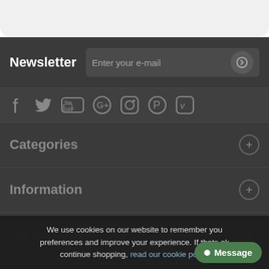Newsletter
Enter your e-mail
[Figure (infographic): Social media icons row: Facebook, Twitter, YouTube, Google+, Instagram, Pinterest, Vimeo]
Categories
Information
My account
We use cookies on our website to remember you preferences and improve your experience. If thats ok continue shopping, read our cookie policy
Message